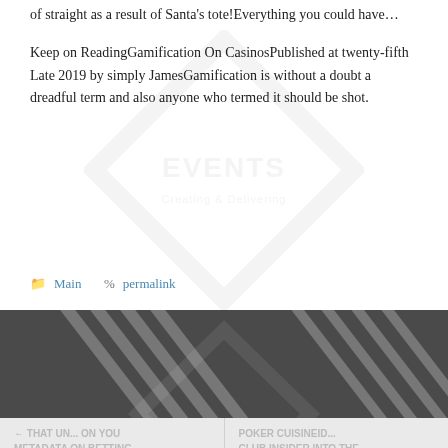of straight as a result of Santa's tote!Everything you could have…
Keep on ReadingGamification On CasinosPublished at twenty-fifth Late 2019 by simply JamesGamification is without a doubt a dreadful term and also anyone who termed it should be shot.
Main  permalink
[Figure (illustration): Dark grey banner section with diagonal white stripe lines and a faint diamond watermark logo]
[Figure (illustration): Two card previews side by side with grey text on light background, partially visible]